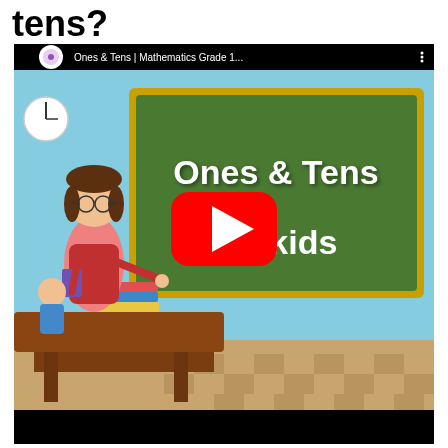tens?
[Figure (screenshot): YouTube video thumbnail for 'Ones & Tens | Mathematics Grade 1...' by Periwinkle channel. Shows an animated classroom scene with a cartoon female teacher pointing at a green chalkboard that reads 'Ones & Tens for kids'. A large YouTube play button (red circle with white triangle) is overlaid in the center. There is a clock on the wall, a desk with books stacked on it, and a checkered floor in the background.]